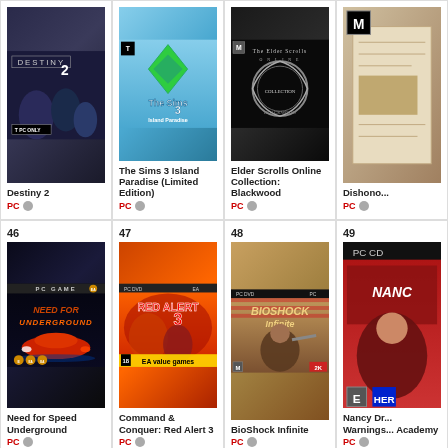[Figure (photo): Destiny 2 PC game box art - dark sci-fi shooter]
Destiny 2
PC
[Figure (photo): The Sims 3 Island Paradise (Limited Edition) PC game box art]
The Sims 3 Island Paradise (Limited Edition)
PC
[Figure (photo): Elder Scrolls Online Collection: Blackwood PC game box art - dark with circle emblem]
Elder Scrolls Online Collection: Blackwood
PC
[Figure (photo): Dishonored PC game box art - partially visible]
Dishono...
PC
46
[Figure (photo): Need for Speed Underground PC game box art - red sports car]
Need for Speed Underground
PC
47
[Figure (photo): Command & Conquer: Red Alert 3 PC game box art - orange background with EA value games]
Command & Conquer: Red Alert 3
PC
48
[Figure (photo): BioShock Infinite PC game box art - man with shotgun]
BioShock Infinite
PC
49
[Figure (photo): Nancy Drew Warnings at Waverly Academy PC game box art - partially visible]
Nancy Drew Warnings at Waverly Academy
PC